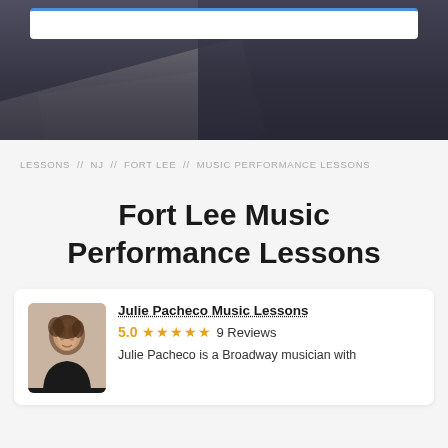[Figure (photo): Hero image with dark background, paper/sheet music shapes, and a search bar at the top with blue accent]
LESSONS // NJ // FORT LEE // MUSIC PERFORMANCE LESSONS
Fort Lee Music Performance Lessons
[Figure (photo): Headshot of Julie Pacheco, a woman with dark curly hair, smiling, wearing a black top]
Julie Pacheco Music Lessons
5.0 ★★★★★ 9 Reviews
Julie Pacheco is a Broadway musician with